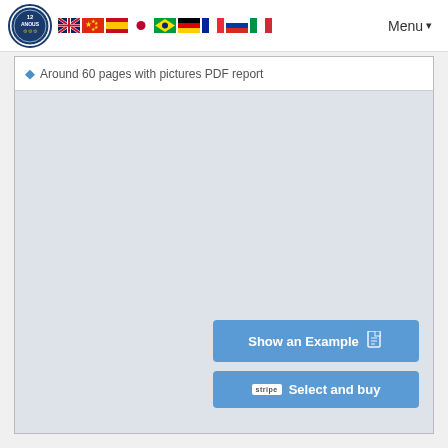Navigation bar with logo, language flags (English, Chinese, Spanish, Japanese, Portuguese, German, French, Russian, Italian), and Menu button
Around 60 pages with pictures PDF report
[Figure (screenshot): Large empty light gray content area]
Show an Example
Select and buy